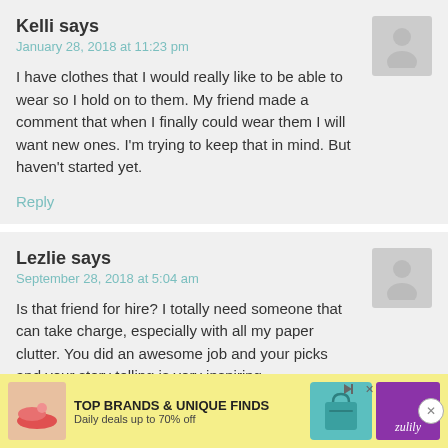Kelli says
January 28, 2018 at 11:23 pm
I have clothes that I would really like to be able to wear so I hold on to them. My friend made a comment that when I finally could wear them I will want new ones. I'm trying to keep that in mind. But haven't started yet.
Reply
Lezlie says
September 28, 2018 at 5:04 am
Is that friend for hire? I totally need someone that can take charge, especially with all my paper clutter. You did an awesome job and your picks and your story telling is very inspiring.
Reply
[Figure (screenshot): Advertisement banner: TOP BRANDS & UNIQUE FINDS, Daily deals up to 70% off, Zulily branding with teal bag and shoes image]